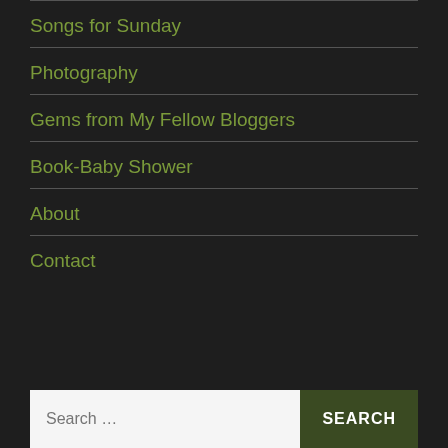Songs for Sunday
Photography
Gems from My Fellow Bloggers
Book-Baby Shower
About
Contact
Search ...